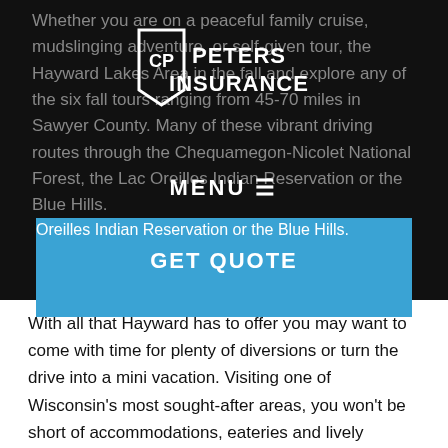Whether you are on a peaceful family cruise, mudslinging adventure, or self-given tour, the Hayward Lakes Area in the fall and explore any of the six fall tours ranging from 45-70 miles in Sawyer County. Many of these vibrant driving routes through the Chequamegon-Nicolet National Forest, the Lac Oreilles Indian Reservation or the Blue Hills.
[Figure (logo): Peters Insurance logo — shield shape with CP initials and PETERS INSURANCE text]
MENU
GET QUOTE
With all that Hayward has to offer you may want to come with time for plenty of diversions or turn the drive into a mini vacation. Visiting one of Wisconsin’s most sought-after areas, you won’t be short of accommodations, eateries and lively activities. Explore your wild side by taking an ATV ride through Chequamegon-Nicolet National Forest.